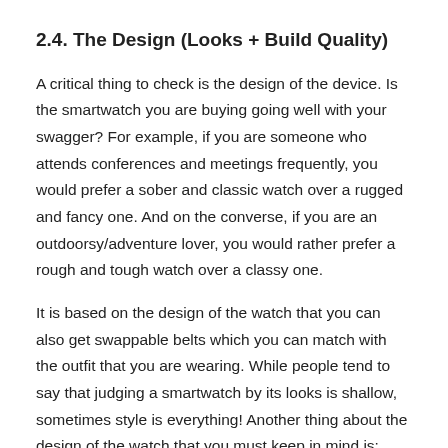2.4. The Design (Looks + Build Quality)
A critical thing to check is the design of the device. Is the smartwatch you are buying going well with your swagger? For example, if you are someone who attends conferences and meetings frequently, you would prefer a sober and classic watch over a rugged and fancy one. And on the converse, if you are an outdoorsy/adventure lover, you would rather prefer a rough and tough watch over a classy one.
It is based on the design of the watch that you can also get swappable belts which you can match with the outfit that you are wearing. While people tend to say that judging a smartwatch by its looks is shallow, sometimes style is everything! Another thing about the design of the watch that you must keep in mind is: does this watch offer protection